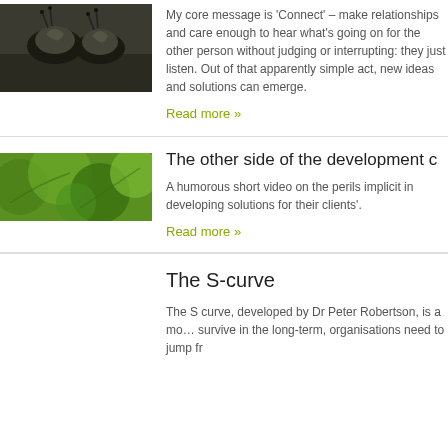[Figure (photo): Photo of two snails on a rocky surface]
My core message is 'Connect' – make relationships and care enough to hear what's going on for the other person without judging or interrupting: they just listen. Out of that apparently simple act, new ideas and solutions can emerge.
Read more »
[Figure (photo): Photo of green leaves close-up]
The other side of the development c
A humorous short video on the perils implicit in developing solutions for their clients'.
Read more »
The S-curve
The S curve, developed by Dr Peter Robertson, is a model... survive in the long-term, organisations need to jump fr